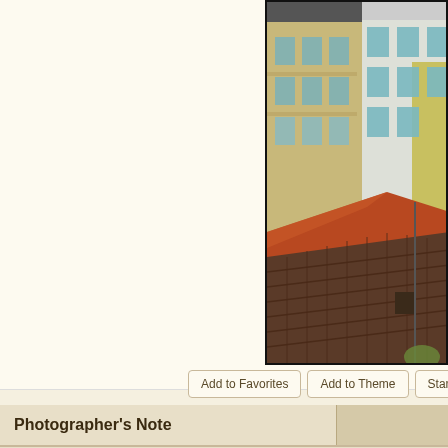[Figure (photo): Urban rooftop and building facades photo showing old European-style multi-story buildings with terracotta and dark tiled rooftops, colorful building exteriors including beige, white, and yellow-green facades with teal/blue window frames]
Add to Favorites
Add to Theme
Start Discussion
Po...
Photographer's Note